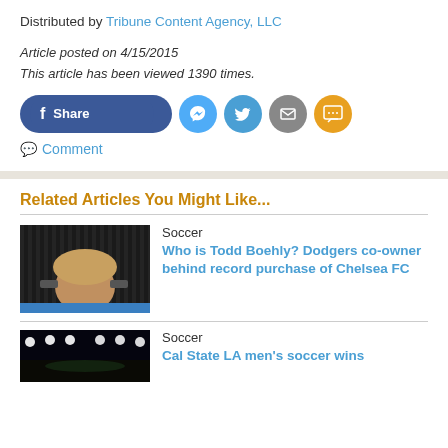Distributed by Tribune Content Agency, LLC
Article posted on 4/15/2015
This article has been viewed 1390 times.
[Figure (other): Social share buttons: Facebook Share, Messenger, Twitter, Email, SMS]
💬 Comment
Related Articles You Might Like...
[Figure (photo): Photo of a man with sunglasses and blonde hair, with a blue bar at the bottom]
Soccer
Who is Todd Boehly? Dodgers co-owner behind record purchase of Chelsea FC
[Figure (photo): Photo of a stadium at night with bright lights]
Soccer
Cal State LA men's soccer wins